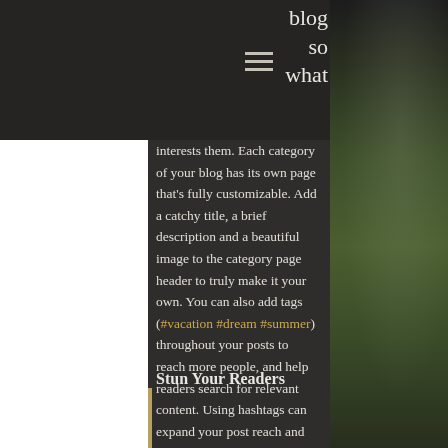blog so what
interests them. Each category of your blog has its own page that's fully customizable. Add a catchy title, a brief description and a beautiful image to the category page header to truly make it your own. You can also add tags (#vacation #dream #summer) throughout your posts to reach more people, and help readers search for relevant content. Using hashtags can expand your post reach and help people find the content that matters to them. Go ahead, #hashtag away.
Stun Your Readers
[Figure (photo): Outdoor garden or event venue with purple flowers and stone planters, photographed at dusk or night]